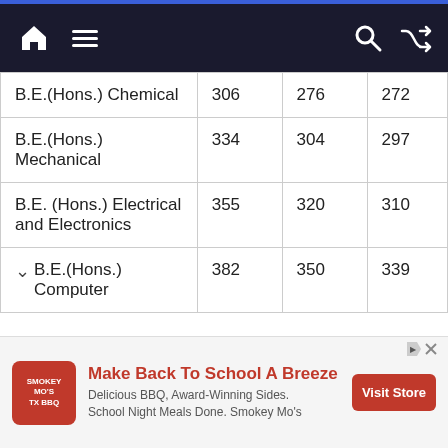Navigation bar with home, menu, search, and shuffle icons
| Program | Col1 | Col2 | Col3 |
| --- | --- | --- | --- |
| B.E.(Hons.) Chemical | 306 | 276 | 272 |
| B.E.(Hons.) Mechanical | 334 | 304 | 297 |
| B.E. (Hons.) Electrical and Electronics | 355 | 320 | 310 |
| B.E.(Hons.) Computer | 382 | 350 | 339 |
[Figure (other): Advertisement banner for Smokey Mo's TX BBQ: Make Back To School A Breeze. Delicious BBQ, Award-Winning Sides. School Night Meals Done. Smokey Mo's. Visit Store button.]